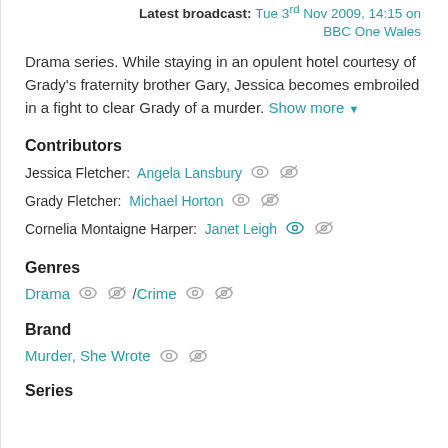Latest broadcast: Tue 3rd Nov 2009, 14:15 on BBC One Wales
Drama series. While staying in an opulent hotel courtesy of Grady's fraternity brother Gary, Jessica becomes embroiled in a fight to clear Grady of a murder. Show more
Contributors
Jessica Fletcher: Angela Lansbury
Grady Fletcher: Michael Horton
Cornelia Montaigne Harper: Janet Leigh
Genres
Drama / Crime
Brand
Murder, She Wrote
Series